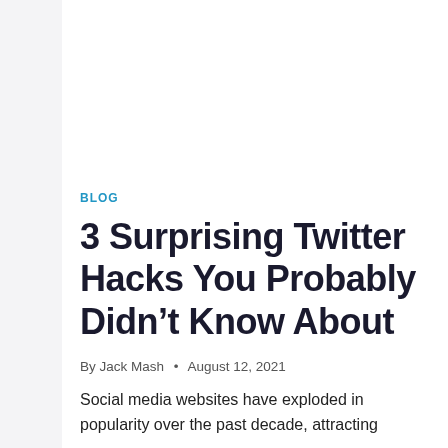BLOG
3 Surprising Twitter Hacks You Probably Didn't Know About
By Jack Mash • August 12, 2021
Social media websites have exploded in popularity over the past decade, attracting